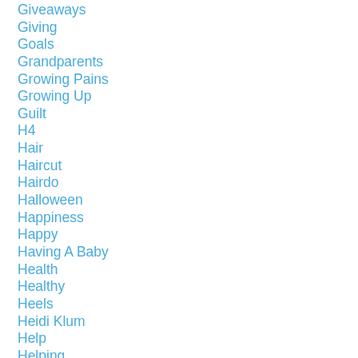Giveaways
Giving
Goals
Grandparents
Growing Pains
Growing Up
Guilt
H4
Hair
Haircut
Hairdo
Halloween
Happiness
Happy
Having A Baby
Health
Healthy
Heels
Heidi Klum
Help
Helping